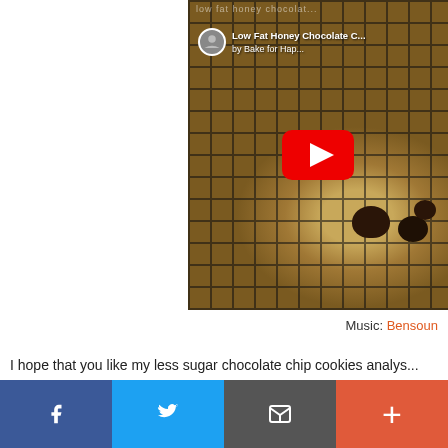[Figure (screenshot): YouTube video thumbnail for 'Low Fat Honey Chocolate Chip Cookies' by Bake for Happiness, showing chocolate chip cookies on a wire rack with a YouTube play button overlay]
Music: Bensoun
I hope that you like my less sugar chocolate chip cookies analys... stay tune for more as I will be sharing many interesting chocolat... months. Some are naughty yet some are made with less sugar a...
[Figure (other): Social share bar with Facebook, Twitter, Email/share, and Plus buttons]